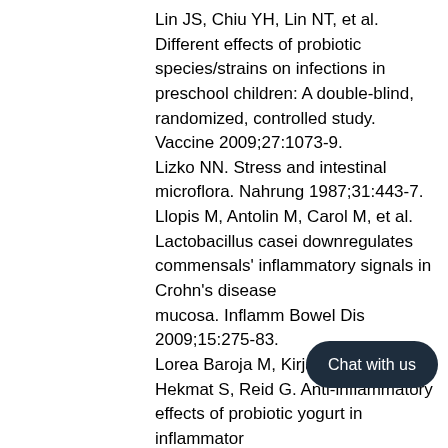Lin JS, Chiu YH, Lin NT, et al. Different effects of probiotic species/strains on infections in preschool children: A double-blind, randomized, controlled study. Vaccine 2009;27:1073-9.
Lizko NN. Stress and intestinal microflora. Nahrung 1987;31:443-7.
Llopis M, Antolin M, Carol M, et al. Lactobacillus casei downregulates commensals' inflammatory signals in Crohn's disease mucosa. Inflamm Bowel Dis 2009;15:275-83.
Lorea Baroja M, Kirjavainen PV, Hekmat S, Reid G. Anti-inflammatory effects of probiotic yogurt in inflammatory bowel disease patients. Clin Exp Immunol 2007;149:470-9.
Lozo J, Vukasinovic M, Strahinia J...